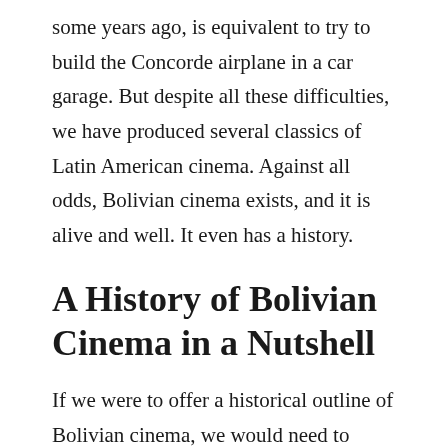some years ago, is equivalent to try to build the Concorde airplane in a car garage. But despite all these difficulties, we have produced several classics of Latin American cinema. Against all odds, Bolivian cinema exists, and it is alive and well. It even has a history.
A History of Bolivian Cinema in a Nutshell
If we were to offer a historical outline of Bolivian cinema, we would need to mention three names: José Velasco Maidana, Jorge Ruiz and Jorge Sanjinés.